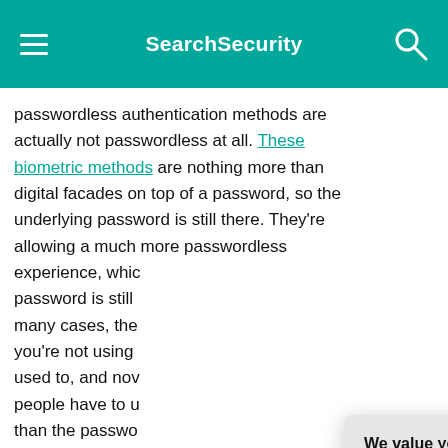SearchSecurity
passwordless authentication methods are actually not passwordless at all. These biometric methods are nothing more than digital facades on top of a password, so the underlying password is still there. They're allowing a much more passwordless experience, which [the underlying] password is still [there]. In many cases, the [password] you're not using [is one you are] used to, and now [it's more secure because] people have to u[se something other] than the passwo[rd — so] actually seeing a [reduction in breaches] because the mo[re security put in] hands, the more [likely people are to] have to go that [route rather than weak] passwords.
We value your privacy.
TechTarget and its partners employ cookies to improve your experience on our site, to analyze traffic and performance, and to serve personalized content and advertising that are relevant to your professional interests. You can manage your settings at any time. Please view our Privacy Policy for more information